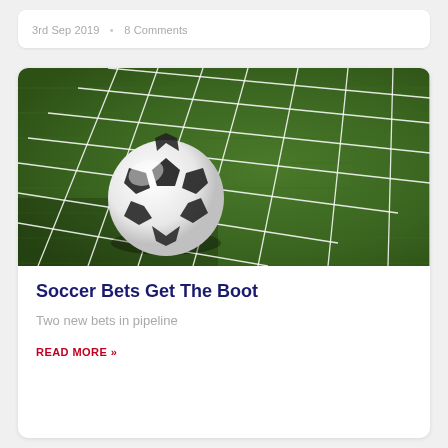3rd Sep 2019  •  8 Comments
[Figure (photo): A black and white soccer ball hitting the back of a white net, with a bright green grass field in the background.]
Soccer Bets Get The Boot
Two new bets in pipeline
READ MORE »